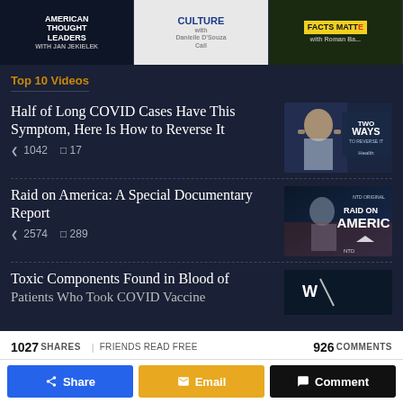[Figure (screenshot): Three podcast/show thumbnails at top: American Thought Leaders with Jan Jekielek, Culture with Danielle D'Souza Call, Facts Matter with Roman Balmakov]
Top 10 Videos
Half of Long COVID Cases Have This Symptom, Here Is How to Reverse It
1042 shares  17 comments
[Figure (photo): Thumbnail for Long COVID video showing woman with headache, text TWO WAYS TO REVERSE IT, Health]
Raid on America: A Special Documentary Report
2574 shares  289 comments
[Figure (photo): Thumbnail for Raid on America documentary showing Trump figure, RAID ON AMERICA text, NTD]
Toxic Components Found in Blood of Patients Who Took COVID Vaccine
[Figure (screenshot): Partial thumbnail for Toxic Components video]
1027 SHARES | FRIENDS READ FREE   926 COMMENTS   Share   Email   Comment